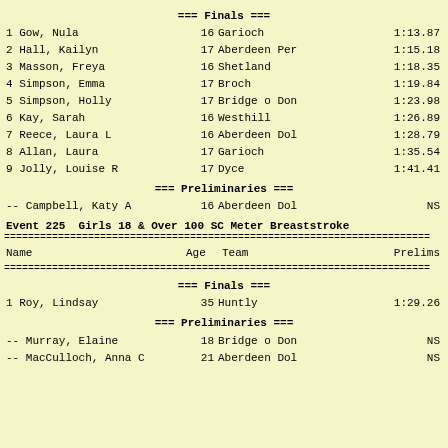=== Finals ===
1 Gow, Nula        16 Garioch        1:13.87
2 Hall, Kailyn     17 Aberdeen Per   1:15.18
3 Masson, Freya    16 Shetland       1:18.35
4 Simpson, Emma    17 Broch          1:19.84
5 Simpson, Holly   17 Bridge o Don   1:23.98
6 Kay, Sarah       16 Westhill       1:26.89
7 Reece, Laura L   16 Aberdeen Dol   1:28.79
8 Allan, Laura     17 Garioch        1:35.54
9 Jolly, Louise R  17 Dyce           1:41.41
=== Preliminaries ===
-- Campbell, Katy A   16 Aberdeen Dol   NS
Event 225  Girls 18 & Over 100 SC Meter Breaststroke
| Name | Age | Team | Prelims |
| --- | --- | --- | --- |
=== Finals ===
1 Roy, Lindsay   35 Huntly   1:29.26
=== Preliminaries ===
-- Murray, Elaine      18 Bridge o Don   NS
-- MacCulloch, Anna C  21 Aberdeen Dol   NS